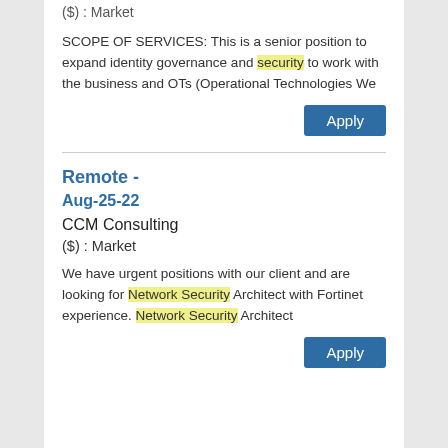($) : Market
SCOPE OF SERVICES: This is a senior position to expand identity governance and security to work with the business and OTs (Operational Technologies We
Apply
Remote -
Aug-25-22
CCM Consulting
($) : Market
We have urgent positions with our client and are looking for Network Security Architect with Fortinet experience. Network Security Architect
Apply